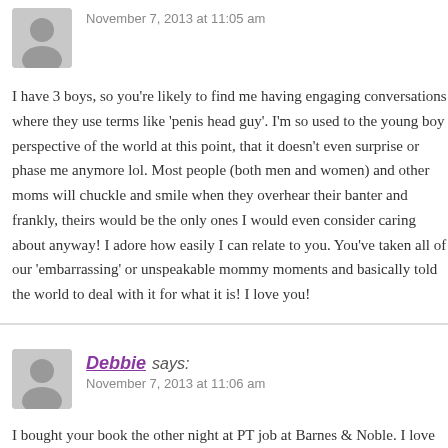I have 3 boys, so you're likely to find me having engaging conversations where they use terms like 'penis head guy'. I'm so used to the young boy perspective of the world at this point, that it doesn't even surprise or phase me anymore lol. Most people (both men and women) and other moms will chuckle and smile knowingly when they overhear their banter and frankly, theirs would be the only ones I would even consider caring about anyway! I adore how easily I can relate to you. You've taken all of our 'embarrassing' or unspeakable mommy moments and basically told the world to deal with it for what it is! I love you!
November 7, 2013 at 11:06 am
Debbie says:
I bought your book the other night at PT job at Barnes & Noble. I love laughing out loud as I read it. I look forward to every chapter, and can't wait what your future tales will be. My crappy daughter is now 17 and we are embarking on the next phase of crappy parenting. The one that involves